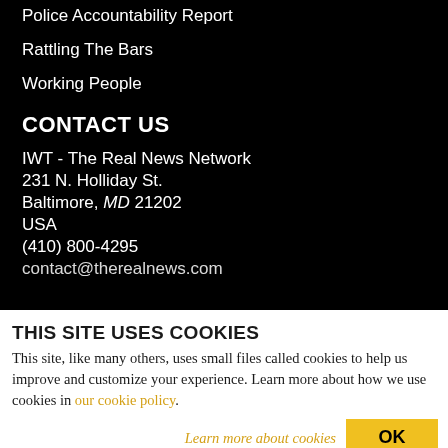Police Accountability Report
Rattling The Bars
Working People
CONTACT US
IWT - The Real News Network
231 N. Holliday St.
Baltimore, MD 21202
USA
(410) 800-4295
contact@therealnews.com
THIS SITE USES COOKIES
This site, like many others, uses small files called cookies to help us improve and customize your experience. Learn more about how we use cookies in our cookie policy.
Learn more about cookies
OK